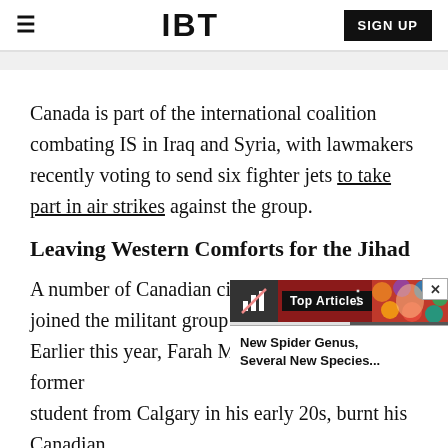IBT  SIGN UP
Canada is part of the international coalition combating IS in Iraq and Syria, with lawmakers recently voting to send six fighter jets to take part in air strikes against the group.
Leaving Western Comforts for the Jihad
A number of Canadian citizens have joined the militant group in Syria. Earlier this year, Farah Mohamed Shirdon, a former student from Calgary in his early 20s, burnt his Canadian passport. No more details visible.
[Figure (screenshot): Overlay widget showing Top Articles panel with colorful background image and article title 'New Spider Genus, Several New Species...']